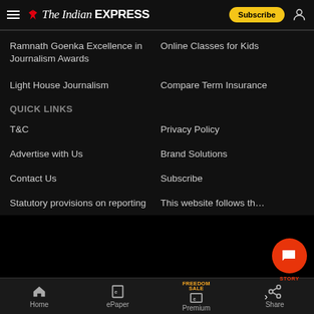The Indian EXPRESS — Subscribe
Ramnath Goenka Excellence in Journalism Awards
Online Classes for Kids
Light House Journalism
Compare Term Insurance
QUICK LINKS
T&C
Privacy Policy
Advertise with Us
Brand Solutions
Contact Us
Subscribe
Statutory provisions on reporting
This website follows th…
Home | ePaper | Premium | Share | STORY